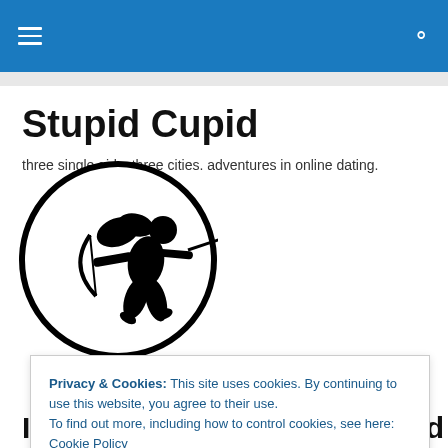Stupid Cupid — navigation header bar
Stupid Cupid
three single girls. three cities. adventures in online dating.
[Figure (logo): Black silhouette of Cupid drawing a bow and arrow, inside a black circle outline]
Privacy & Cookies: This site uses cookies. By continuing to use this website, you agree to their use.
To find out more, including how to control cookies, see here: Cookie Policy
Close and accept
I don't understand Hinge, and